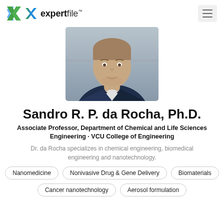expertfile™
[Figure (photo): Professional headshot of Sandro R. P. da Rocha, Ph.D. — man in dark suit jacket against a neutral background]
Sandro R. P. da Rocha, Ph.D.
Associate Professor, Department of Chemical and Life Sciences Engineering · VCU College of Engineering
Dr. da Rocha specializes in chemical engineering, biomedical engineering and nanotechnology.
Nanomedicine
Nonivasive Drug & Gene Delivery
Biomaterials
Cancer nanotechnology
Aerosol formulation